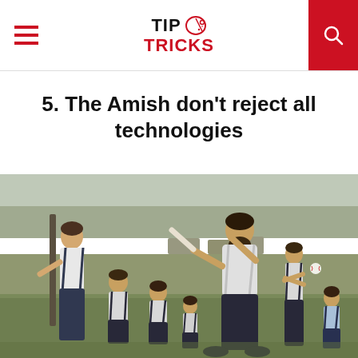TIP TRICKS
5. The Amish don't reject all technologies
[Figure (photo): Group of Amish boys and a bearded man playing baseball outdoors. The man is swinging a bat while several boys in dark suspenders and light shirts watch from the sidelines near a fence post. They are on a grassy field.]